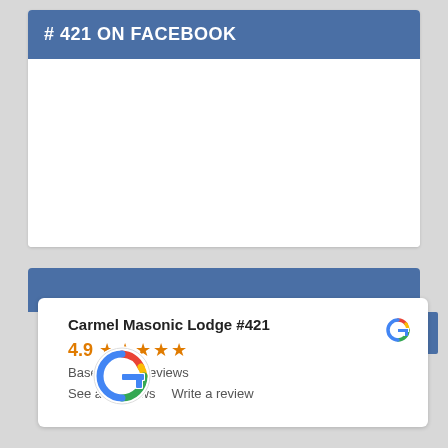# 421 ON FACEBOOK
[Figure (screenshot): White blank area representing Facebook embed content]
[Figure (screenshot): Google reviews widget showing Carmel Masonic Lodge #421 with 4.9 stars based on 16 reviews]
Carmel Masonic Lodge #421
4.9 ★★★★★
Based on 16 reviews
See all reviews   Write a review